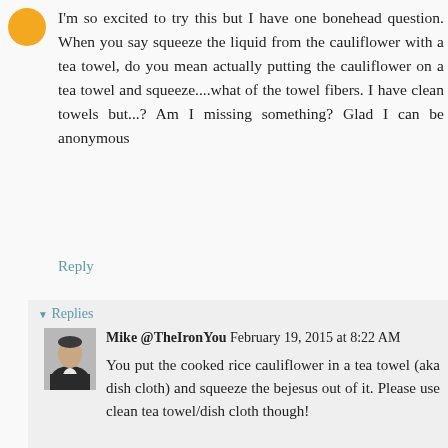[Figure (photo): Orange circular avatar icon for anonymous commenter]
I'm so excited to try this but I have one bonehead question. When you say squeeze the liquid from the cauliflower with a tea towel, do you mean actually putting the cauliflower on a tea towel and squeeze....what of the towel fibers. I have clean towels but...? Am I missing something? Glad I can be anonymous
Reply
Replies
[Figure (photo): Black and white photo of Mike in a suit jacket]
Mike @TheIronYou February 19, 2015 at 8:22 AM
You put the cooked rice cauliflower in a tea towel (aka dish cloth) and squeeze the bejesus out of it. Please use clean tea towel/dish cloth though!